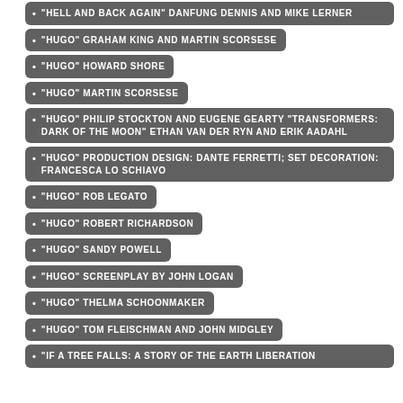"HELL AND BACK AGAIN" DANFUNG DENNIS AND MIKE LERNER
"HUGO" GRAHAM KING AND MARTIN SCORSESE
"HUGO" HOWARD SHORE
"HUGO" MARTIN SCORSESE
"HUGO" PHILIP STOCKTON AND EUGENE GEARTY "TRANSFORMERS: DARK OF THE MOON" ETHAN VAN DER RYN AND ERIK AADAHL
"HUGO" PRODUCTION DESIGN: DANTE FERRETTI; SET DECORATION: FRANCESCA LO SCHIAVO
"HUGO" ROB LEGATO
"HUGO" ROBERT RICHARDSON
"HUGO" SANDY POWELL
"HUGO" SCREENPLAY BY JOHN LOGAN
"HUGO" THELMA SCHOONMAKER
"HUGO" TOM FLEISCHMAN AND JOHN MIDGLEY
"IF A TREE FALLS: A STORY OF THE EARTH LIBERATION